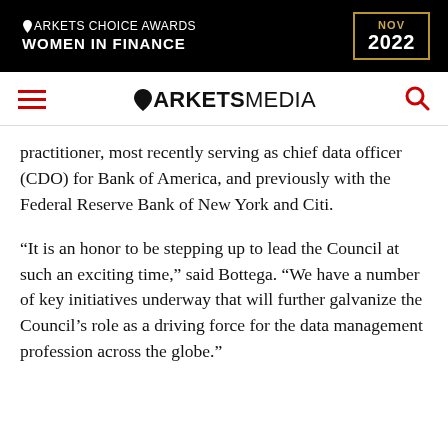[Figure (logo): Markets Choice Awards Women in Finance NOV 2022 banner advertisement on black background with gold border]
ARKETSMEDIA (with hamburger menu and search icon)
practitioner, most recently serving as chief data officer (CDO) for Bank of America, and previously with the Federal Reserve Bank of New York and Citi.
“It is an honor to be stepping up to lead the Council at such an exciting time,” said Bottega. “We have a number of key initiatives underway that will further galvanize the Council’s role as a driving force for the data management profession across the globe.”